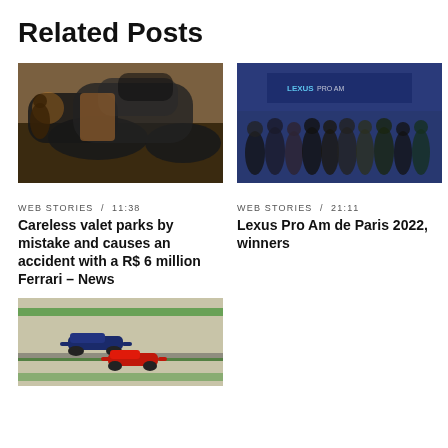Related Posts
[Figure (photo): Night photo of a dark sports car (Ferrari) with doors open on a street]
[Figure (photo): Group of people celebrating at Lexus Pro Am de Paris 2022 event in front of blue Lexus banner]
WEB STORIES / 11:38
Careless valet parks by mistake and causes an accident with a R$ 6 million Ferrari – News
WEB STORIES / 21:11
Lexus Pro Am de Paris 2022, winners
[Figure (photo): Formula 1 racing cars on track, aerial view]